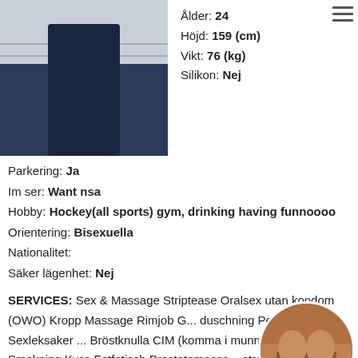[Figure (photo): Photo of a person in dark jeans standing by a railing, torso/lower body visible]
Ålder: 24
Höjd: 159 (cm)
Vikt: 76 (kg)
Silikon: Nej
Parkering: Ja
Im ser: Want nsa
Hobby: Hockey(all sports) gym, drinking having funnoooo
Orientering: Bisexuella
Nationalitet:
Säker lägenhet: Nej
SERVICES: Sex & Massage Striptease Oralsex utan kondom (OWO) Kropp Massage Rimjob G... duschning Penismassage Sexleksaker ... Bröstknulla CIM (komma i munnen) Hög... Smekning Kyss Fotfetisch Prostatemassa... stretching Tortyr COB (komma på kroppen) Onani
[Figure (photo): Circular thumbnail photo showing a person's torso]